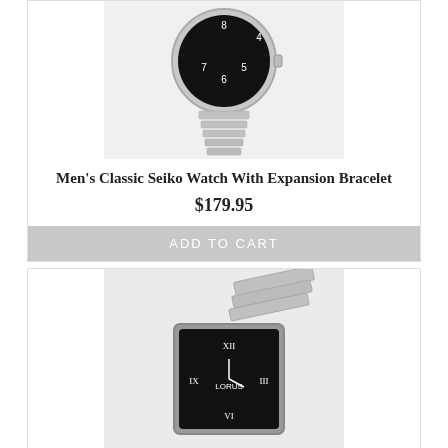[Figure (photo): Men's classic Seiko watch with black dial, Arabic numerals, and silver expansion bracelet, viewed from above showing the band extending downward]
Men's Classic Seiko Watch With Expansion Bracelet
$179.95
ADD TO CART
[Figure (photo): Ladies or unisex Lorus watch with rectangular black dial, Roman numerals, and silver bracelet band, photographed at an angle]